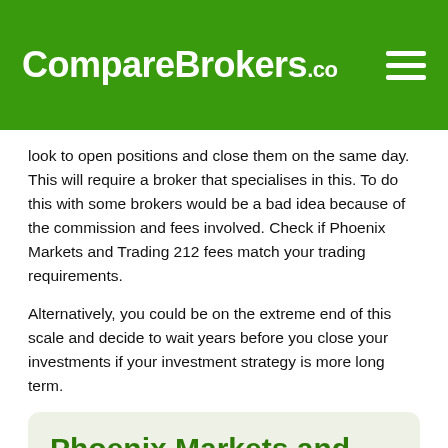CompareBrokers.co
look to open positions and close them on the same day. This will require a broker that specialises in this. To do this with some brokers would be a bad idea because of the commission and fees involved. Check if Phoenix Markets and Trading 212 fees match your trading requirements.
Alternatively, you could be on the extreme end of this scale and decide to wait years before you close your investments if your investment strategy is more long term.
Phoenix Markets and Trading 212 Alternatives
If Phoenix Markets and Trading 212 are not what you are not quite what you are looking for we list some of the best Phoenix